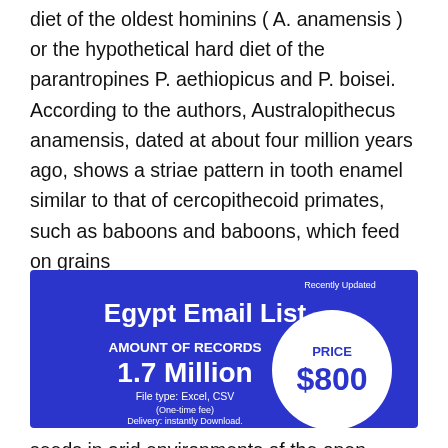diet of the oldest hominins ( A. anamensis ) or the hypothetical hard diet of the parantropines P. aethiopicus and P. boisei. According to the authors, Australopithecus anamensis, dated at about four million years ago, shows a striae pattern in tooth enamel similar to that of cercopithecoid primates, such as baboons and baboons, which feed on grains
[Figure (infographic): Blue advertisement banner for Egypt Email List. Shows 'Recently Updated' label, 'Egypt Email List' title in large white bold text, 'AMOUNT OF RECORDS' label, '1.7 Million' in large white bold text, a white circle with 'PRICE' and '$800' in blue text, 'File type: Excel, CSV', '(One-time fee)', 'Delivery: instantly Download.']
seeds in arid environments of the open